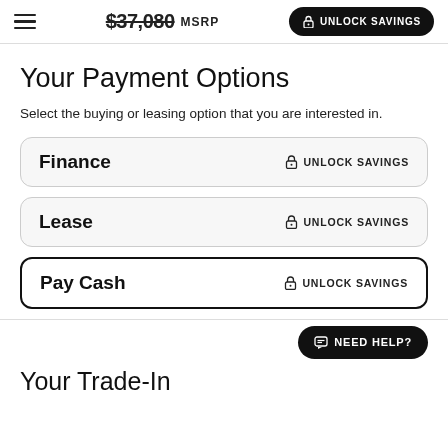$37,080 MSRP  UNLOCK SAVINGS
Your Payment Options
Select the buying or leasing option that you are interested in.
Finance  🔒 UNLOCK SAVINGS
Lease  🔒 UNLOCK SAVINGS
Pay Cash  🔒 UNLOCK SAVINGS
NEED HELP?
Your Trade-In